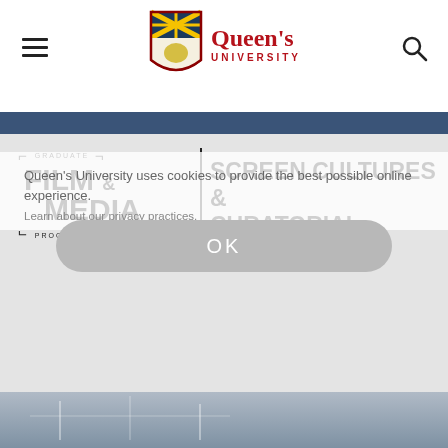[Figure (logo): Queen's University shield crest logo with red and navy heraldic design]
Queen's University
Queen's University uses cookies to provide the best possible online experience.
Learn about our privacy practices.
FILM & MEDIA
SCREEN CULTURES & CURATORIAL STUDIES
GRADUATE PROGRAM
OK
[Figure (photo): Partial view of a photograph at bottom of page showing what appears to be architectural or interior scene]